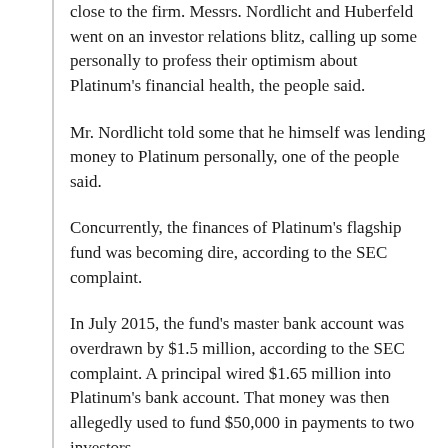close to the firm. Messrs. Nordlicht and Huberfeld went on an investor relations blitz, calling up some personally to profess their optimism about Platinum's financial health, the people said.
Mr. Nordlicht told some that he himself was lending money to Platinum personally, one of the people said.
Concurrently, the finances of Platinum's flagship fund was becoming dire, according to the SEC complaint.
In July 2015, the fund's master bank account was overdrawn by $1.5 million, according to the SEC complaint. A principal wired $1.65 million into Platinum's bank account. That money was then allegedly used to fund $50,000 in payments to two investors.
Platinum also used its second-largest fund to provide cash to the flagship, even though both